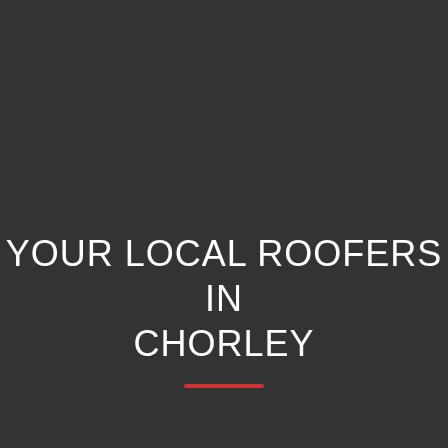YOUR LOCAL ROOFERS IN CHORLEY
[Figure (other): Red horizontal decorative underline beneath the title text]